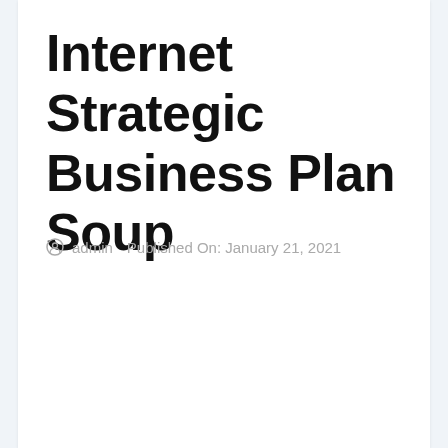Internet Strategic Business Plan Soup
admin   Published On: January 21, 2021